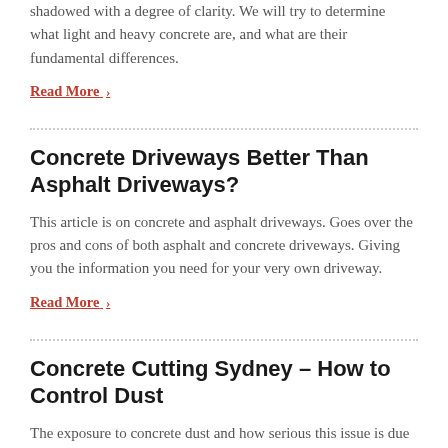shadowed with a degree of clarity. We will try to determine what light and heavy concrete are, and what are their fundamental differences.
Read More ›
Concrete Driveways Better Than Asphalt Driveways?
This article is on concrete and asphalt driveways. Goes over the pros and cons of both asphalt and concrete driveways. Giving you the information you need for your very own driveway.
Read More ›
Concrete Cutting Sydney – How to Control Dust
The exposure to concrete dust and how serious this issue is due to its harmful effect on health is well-known, particularly